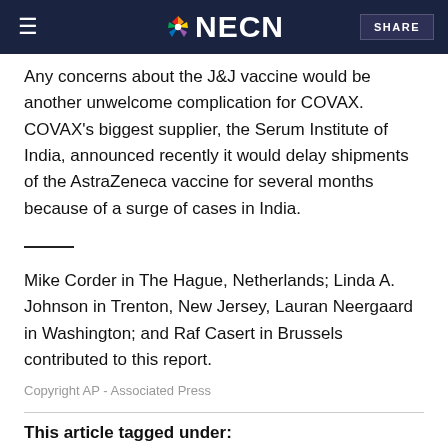NECN
Any concerns about the J&J vaccine would be another unwelcome complication for COVAX. COVAX's biggest supplier, the Serum Institute of India, announced recently it would delay shipments of the AstraZeneca vaccine for several months because of a surge of cases in India.
Mike Corder in The Hague, Netherlands; Linda A. Johnson in Trenton, New Jersey, Lauran Neergaard in Washington; and Raf Casert in Brussels contributed to this report.
Copyright AP - Associated Press
This article tagged under: